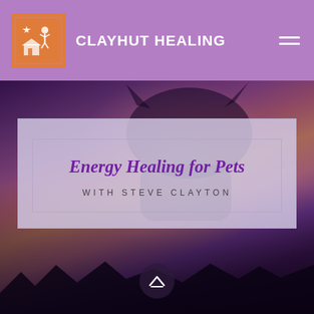CLAYHUT HEALING
[Figure (screenshot): Website hero image showing a silhouetted cat against a warm purple-orange sunset sky background with a semi-transparent content card overlay]
Energy Healing for Pets
WITH STEVE CLAYTON